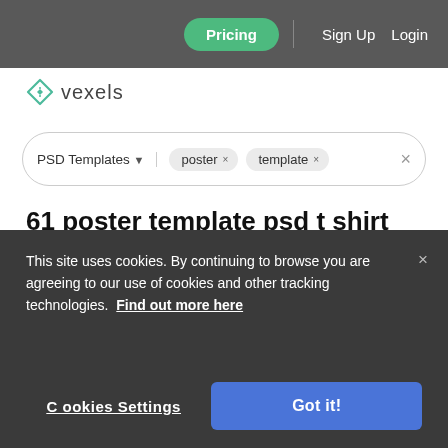Pricing | Sign Up | Login
[Figure (logo): Vexels logo with diamond icon and text 'vexels']
PSD Templates ▾  poster ×  template ×  ×
61 poster template psd t shirt designs and mockups
download editable poster template psd t shirt designs or mockups
related: poster design vectors, poster, halloween poster
This site uses cookies. By continuing to browse you are agreeing to our use of cookies and other tracking technologies. Find out more here
Cookies Settings  Got it!